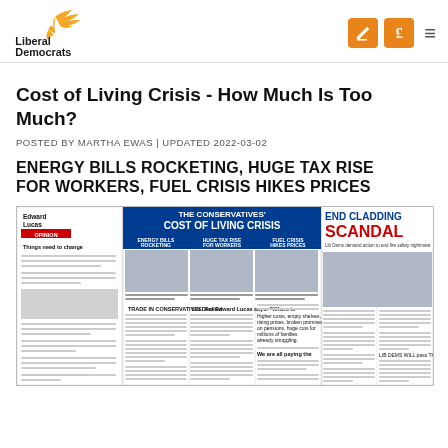[Figure (logo): Liberal Democrats logo with golden bird/flame symbol and bold text 'Liberal Democrats']
Cost of Living Crisis - How Much Is Too Much?
POSTED BY MARTHA EWAS | UPDATED 2022-03-02
ENERGY BILLS ROCKETING, HUGE TAX RISE FOR WORKERS, FUEL CRISIS HIKES PRICES
[Figure (photo): Composite newspaper front pages showing 'The Conservatives' Cost of Living Crisis' with sections: Energy Bills Rocketing, Huge Tax Rise for Workers, Fuel Crisis Hikes Prices; and 'End Cladding Scandal - Lib Dems demand action to end fire safety nightmare']